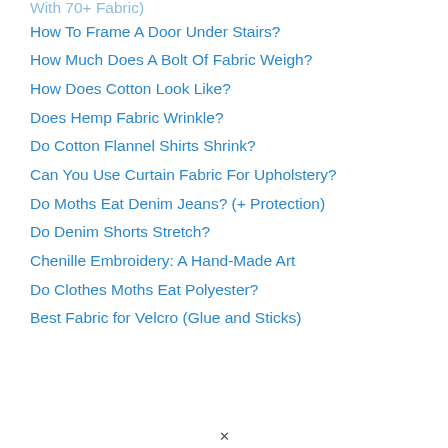How To Frame A Door Under Stairs?
How Much Does A Bolt Of Fabric Weigh?
How Does Cotton Look Like?
Does Hemp Fabric Wrinkle?
Do Cotton Flannel Shirts Shrink?
Can You Use Curtain Fabric For Upholstery?
Do Moths Eat Denim Jeans? (+ Protection)
Do Denim Shorts Stretch?
Chenille Embroidery: A Hand-Made Art
Do Clothes Moths Eat Polyester?
Best Fabric for Velcro (Glue and Sticks)